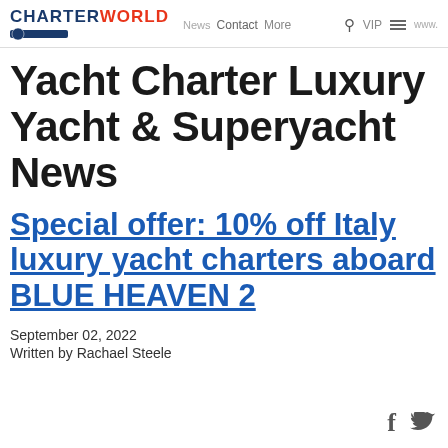CHARTERWORLD | News Contact More VIP
Yacht Charter Luxury Yacht & Superyacht News
Special offer: 10% off Italy luxury yacht charters aboard BLUE HEAVEN 2
September 02, 2022
Written by Rachael Steele